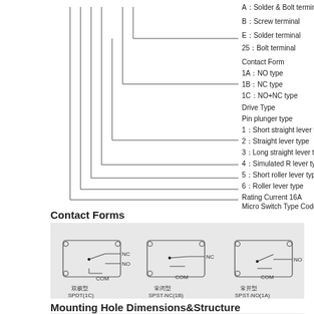[Figure (schematic): Part numbering diagram showing nested bracket lines connecting to labels: A: Solder & Bolt terminal, B: Screw terminal, E: Solder terminal, 25: Bolt terminal, Contact Form (1A: NO type, 1B: NC type, 1C: NO+NC type), Drive Type (Pin plunger type, 1: Short straight lever type, 2: Straight lever type, 3: Long straight lever type, 4: Simulated R lever type, 5: Short roller lever type, 6: Roller lever type), Rating Current 16A, Micro Switch Type Code, Company Code]
Contact Forms
[Figure (schematic): Three contact form diagrams: SPDT(1C) with NC and NO labels and COM, SPST-NC(1B) with NC and COM, SPST-NO(1A) with NO and COM]
Mounting Hole Dimensions&Structure